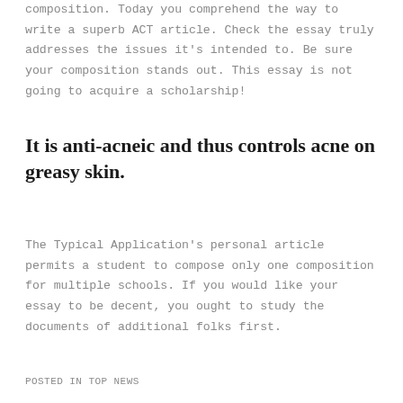composition. Today you comprehend the way to write a superb ACT article. Check the essay truly addresses the issues it's intended to. Be sure your composition stands out. This essay is not going to acquire a scholarship!
It is anti-acneic and thus controls acne on greasy skin.
The Typical Application's personal article permits a student to compose only one composition for multiple schools. If you would like your essay to be decent, you ought to study the documents of additional folks first.
POSTED IN TOP NEWS